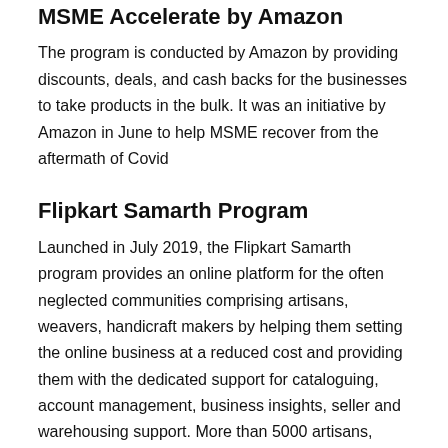MSME Accelerate by Amazon
The program is conducted by Amazon by providing discounts, deals, and cash backs for the businesses to take products in the bulk. It was an initiative by Amazon in June to help MSME recover from the aftermath of Covid
Flipkart Samarth Program
Launched in July 2019, the Flipkart Samarth program provides an online platform for the often neglected communities comprising artisans, weavers, handicraft makers by helping them setting the online business at a reduced cost and providing them with the dedicated support for cataloguing, account management, business insights, seller and warehousing support. More than 5000 artisans, weavers, and small businesses have benefitted from this program.